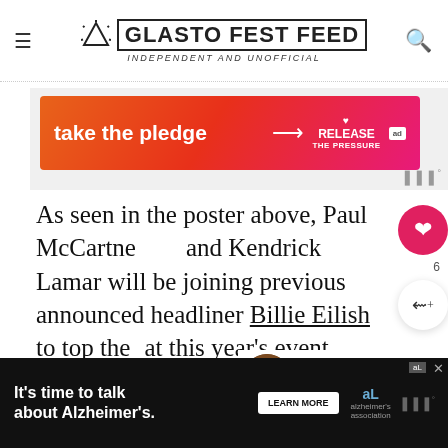GLASTO FEST FEED — Independent and Unofficial
[Figure (other): Advertisement banner: orange-to-pink gradient with text 'take the pledge' and arrow, Release logo, ad badge]
As seen in the poster above, Paul McCartney and Kendrick Lamar will be joining previously announced headliner Billie Eilish to top the at this year's event.
Eilish will be playing the Pyramid Stage on the Fr... as
[Figure (other): Bottom advertisement bar: dark background with 'It's time to talk about Alzheimer's.' text, LEARN MORE button, Alzheimer's association logo, close button]